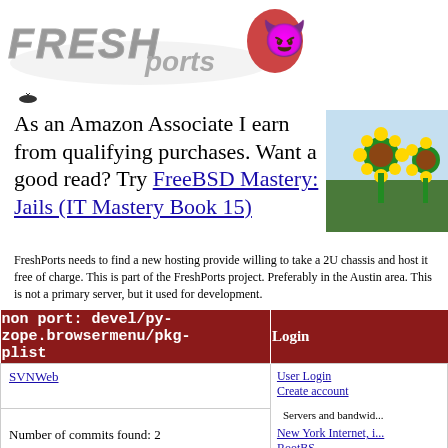[Figure (logo): FreshPorts logo with stylized text and BSD devil mascot]
[Figure (other): Small bug/ant icon]
As an Amazon Associate I earn from qualifying purchases. Want a good read? Try FreeBSD Mastery: Jails (IT Mastery Book 15)
[Figure (photo): Photo of sunflowers in a field]
FreshPorts needs to find a new hosting provide willing to take a 2U chassis and host it free of charge. This is part of the FreshPorts project. Preferably in the Austin area. This is not a primary server, but it used for development.
| non port: devel/py-zope.browsermenu/pkg-plist | Login |
| --- | --- |
| SVNWeb | User Login
Create account |
| Number of commits found: 2 | Servers and bandwidth...
New York Internet, i...
RootBS... |